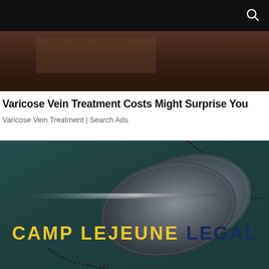[Figure (screenshot): Dark top navigation bar with search icon (magnifying glass) on the right side]
[Figure (photo): Blurred brownish/dark background image at top, partial view]
Varicose Vein Treatment Costs Might Surprise You
Varicose Vein Treatment | Search Ads
[Figure (photo): Military dog tags on dark teal textured background with 'CAMP LEJEUNE LEGAL' text overlay in yellow and dark blue, with a shimmer/light streak effect]